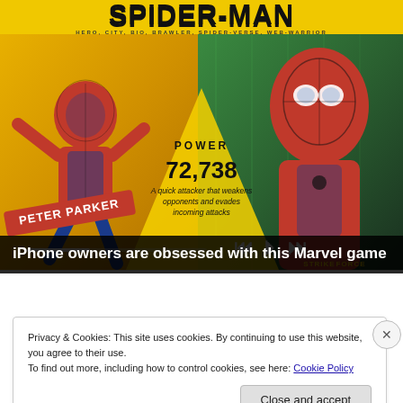[Figure (screenshot): Screenshot of a Spider-Man mobile game (Marvel Strike Force) showing two Spider-Man character variants — animated on the left (Peter Parker) and realistic on the right — against a yellow-green background with POWER 72,738 displayed and the caption 'A quick attacker that weakens opponents and evades incoming attacks'. Tags: HERO, CITY, BIO, BRAWLER, SPIDER-VERSE, WEB-WARRIOR.]
iPhone owners are obsessed with this Marvel game
Privacy & Cookies: This site uses cookies. By continuing to use this website, you agree to their use.
To find out more, including how to control cookies, see here: Cookie Policy